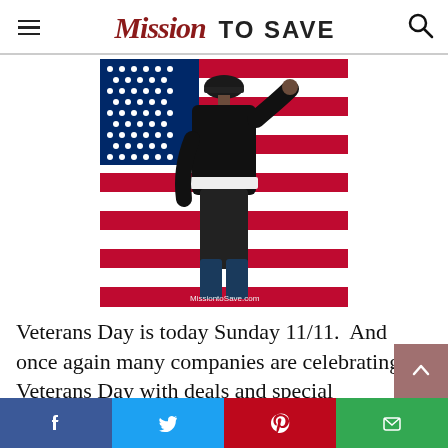Mission TO SAVE
[Figure (photo): Soldier in dress uniform saluting with back turned, American flag in background. Watermark: MissiontoSave.com]
Veterans Day is today Sunday 11/11.  And once again many companies are celebrating Veterans Day with deals and special